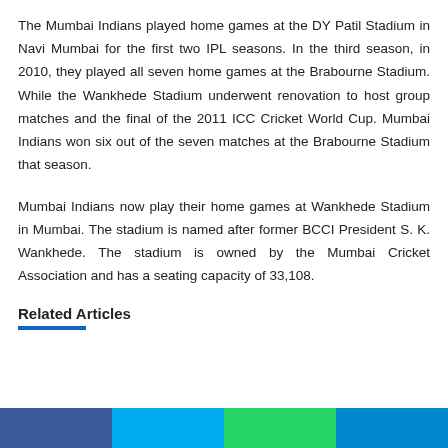The Mumbai Indians played home games at the DY Patil Stadium in Navi Mumbai for the first two IPL seasons. In the third season, in 2010, they played all seven home games at the Brabourne Stadium. While the Wankhede Stadium underwent renovation to host group matches and the final of the 2011 ICC Cricket World Cup. Mumbai Indians won six out of the seven matches at the Brabourne Stadium that season.
Mumbai Indians now play their home games at Wankhede Stadium in Mumbai. The stadium is named after former BCCI President S. K. Wankhede. The stadium is owned by the Mumbai Cricket Association and has a seating capacity of 33,108.
Related Articles